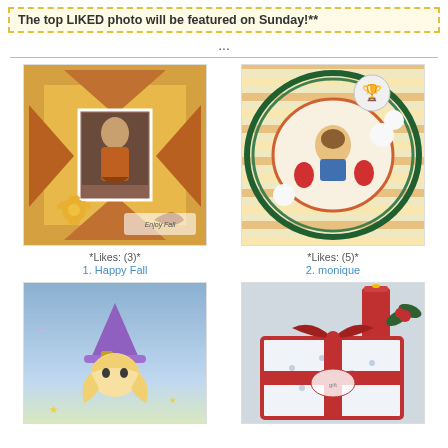The top LIKED photo will be featured on Sunday!**
...
[Figure (photo): Autumn fall scrapbook card with woman photo, orange decorations, daisy flower, and 'Enjoy Fall' text]
*Likes: (3)*
1. Happy Fall
[Figure (photo): Christmas oval card with illustrated character, strawberries, white flowers, and striped background]
*Likes: (5)*
2. monique
[Figure (photo): Cartoon witch girl with purple hat illustration on blue background]
[Figure (photo): Christmas gift box with red ribbon and bow, red candle, holly decoration]